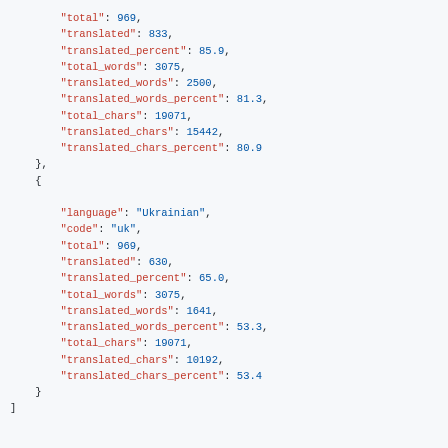JSON code block showing translation statistics for Ukrainian language including total, translated, translated_percent, total_words, translated_words, translated_words_percent, total_chars, translated_chars, translated_chars_percent fields